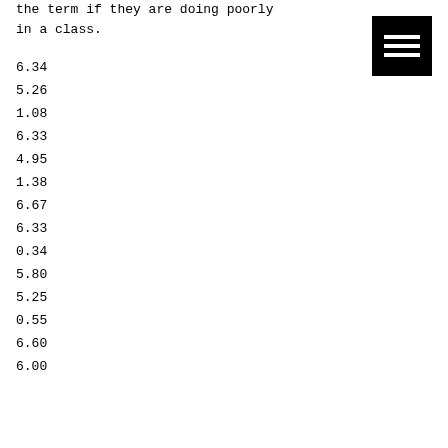the term if they are doing poorly in a class.
[Figure (other): Hamburger menu icon - three white horizontal bars on black background]
6.34
5.26
1.08
6.33
4.95
1.38
6.67
6.33
0.34
5.80
5.25
0.55
6.60
6.00